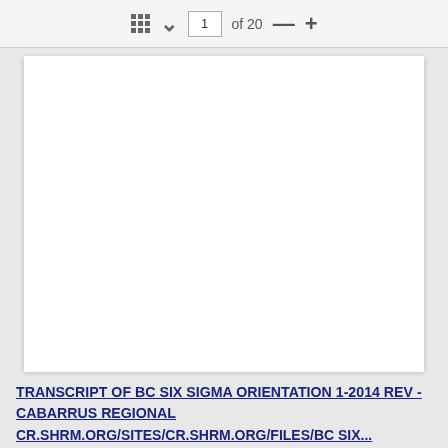1 of 20
[Figure (screenshot): Blank white document preview area showing page 1 of 20 of a document viewer]
TRANSCRIPT OF BC SIX SIGMA ORIENTATION 1-2014 REV - CABARRUS REGIONAL
CR.SHRM.ORG/SITES/CR.SHRM.ORG/FILES/BC SIX...